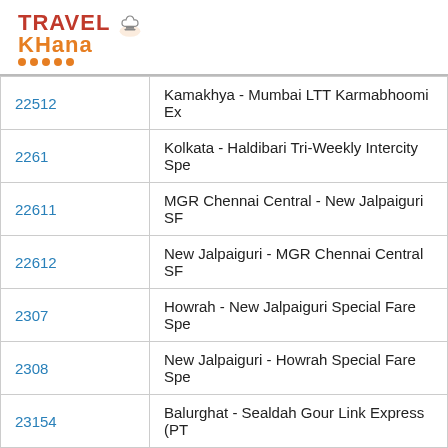[Figure (logo): TravelKhana logo with chef hat icon and orange dots]
| Train Number | Train Name |
| --- | --- |
| 22512 | Kamakhya - Mumbai LTT Karmabhoomi Ex |
| 2261 | Kolkata - Haldibari Tri-Weekly Intercity Spe |
| 22611 | MGR Chennai Central - New Jalpaiguri SF |
| 22612 | New Jalpaiguri - MGR Chennai Central SF |
| 2307 | Howrah - New Jalpaiguri Special Fare Spe |
| 2308 | New Jalpaiguri - Howrah Special Fare Spe |
| 23154 | Balurghat - Sealdah Gour Link Express (PT |
| 2348 | Sahid SF Special |
| 2509 | Bengaluru Cantt. - Agartala AC SF Speciall |
| 2521 | Bengaluru Cantt. - Malda Town Special Far |